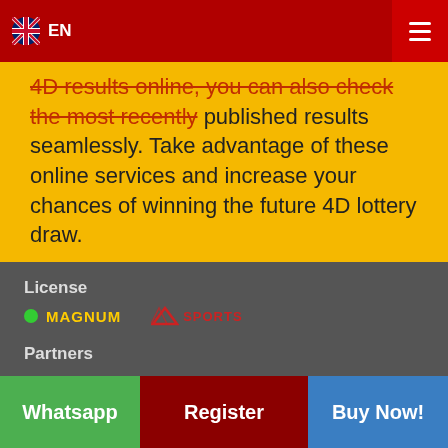EN
4D results online, you can also check the most recently published results seamlessly. Take advantage of these online services and increase your chances of winning the future 4D lottery draw.
License
[Figure (logo): Magnum license logo and Sports logo in footer]
Partners
[Figure (logo): Agari partner logo and JOKER partner logo]
Payment Method
Whatsapp | Register | Buy Now!